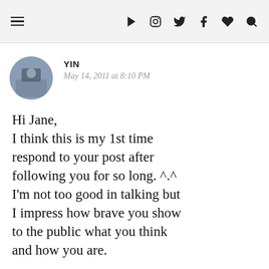≡ ▶ [instagram] [twitter] f ♥ [search]
YIN
May 14, 2011 at 8:10 PM
Hi Jane,
I think this is my 1st time respond to your post after following you for so long. ^.^
I'm not too good in talking but I impress how brave you show to the public what you think and how you are.
Because you hold an Asian type of body so is normal for you hard to find suitable cloths at US or any other